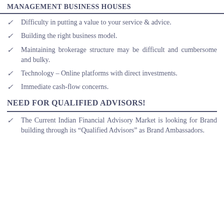MANAGEMENT BUSINESS HOUSES
Difficulty in putting a value to your service & advice.
Building the right business model.
Maintaining brokerage structure may be difficult and cumbersome and bulky.
Technology – Online platforms with direct investments.
Immediate cash-flow concerns.
NEED FOR QUALIFIED ADVISORS!
The Current Indian Financial Advisory Market is looking for Brand building through its “Qualified Advisors” as Brand Ambassadors.